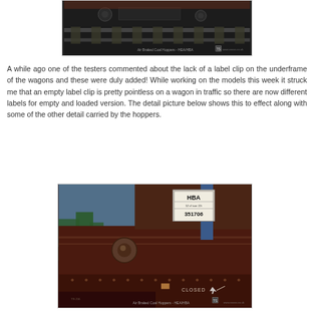[Figure (photo): A close-up photo of the underframe/wheels area of a railway wagon/hopper, showing rails and dark details. Watermark text reads: Air Braked Coal Hoppers - HEA/HBA]
A while ago one of the testers commented about the lack of a label clip on the underframe of the wagons and these were duly added! While working on the models this week it struck me that an empty label clip is pretty pointless on a wagon in traffic so there are now different labels for empty and loaded version. The detail picture below shows this to effect along with some of the other detail carried by the hoppers.
[Figure (photo): A detailed 3D model render of an HBA coal hopper wagon. The side label shows 'HBA' with number '351706'. Text 'CLOSED' is visible on the lower panel. Watermark text reads: Air Braked Coal Hoppers - HEA/HBA]